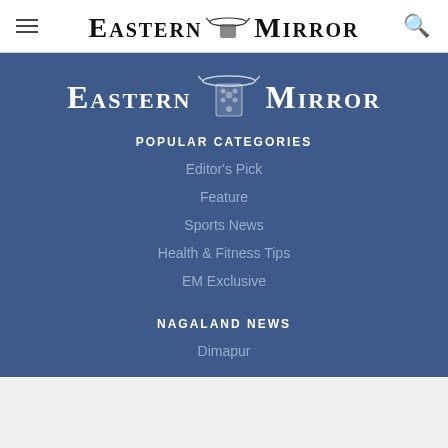Eastern Mirror
[Figure (logo): Eastern Mirror newspaper logo with small illustration between the words]
POPULAR CATEGORIES
Editor's Pick
Feature
Sports News
Health & Fitness Tips
EM Exclusive
NAGALAND NEWS
Dimapur